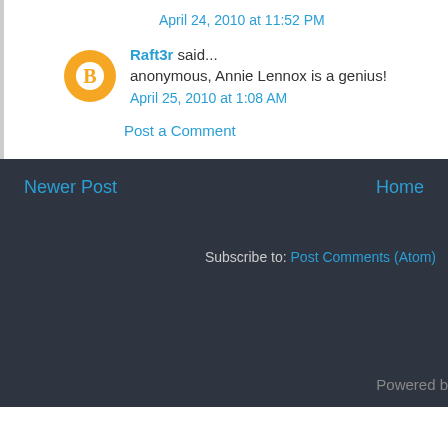April 24, 2010 at 11:52 PM
Raft3r said...
anonymous, Annie Lennox is a genius!
April 25, 2010 at 1:08 AM
Post a Comment
Newer Post
Home
Subscribe to: Post Comments (Atom)
Powered b